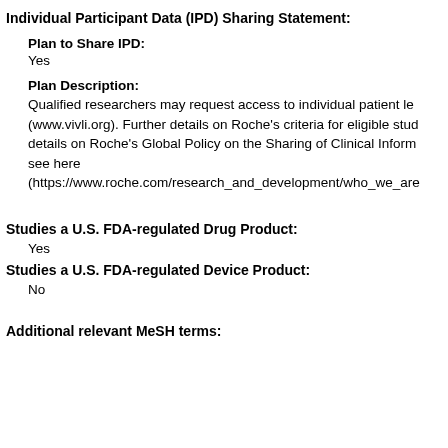Individual Participant Data (IPD) Sharing Statement:
Plan to Share IPD:
Yes
Plan Description:
Qualified researchers may request access to individual patient le (www.vivli.org). Further details on Roche's criteria for eligible stud details on Roche's Global Policy on the Sharing of Clinical Inform see here (https://www.roche.com/research_and_development/who_we_are
Studies a U.S. FDA-regulated Drug Product:
Yes
Studies a U.S. FDA-regulated Device Product:
No
Additional relevant MeSH terms: